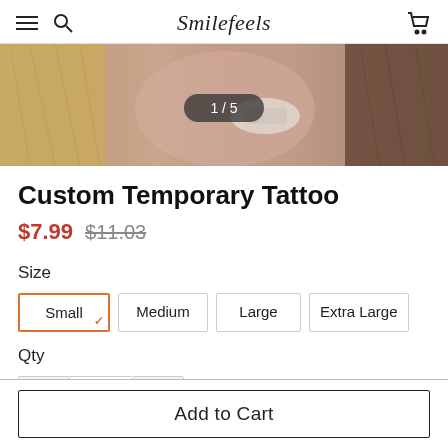Smilefeels
[Figure (photo): Close-up photo of a hand wearing a decorative ring, on a wooden surface, with image counter badge showing '1 / 5']
Custom Temporary Tattoo
$7.99  $11.03
Size
Small  Medium  Large  Extra Large
Qty
- 1 +
Add to Cart